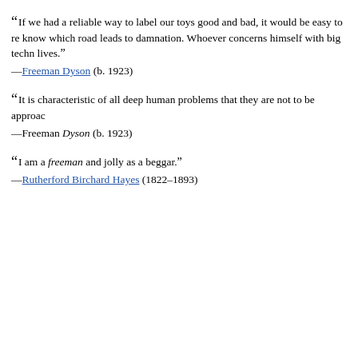“If we had a reliable way to label our toys good and bad, it would be easy to re know which road leads to damnation. Whoever concerns himself with big techn lives.”
—Freeman Dyson (b. 1923)
“It is characteristic of all deep human problems that they are not to be approac
—Freeman Dyson (b. 1923)
“I am a freeman and jolly as a beggar.”
—Rutherford Birchard Hayes (1822–1893)